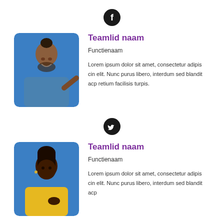[Figure (other): Facebook icon - circular black button with white letter f]
[Figure (photo): Photo of a smiling man with braided hair and beard wearing a blue shirt, on a blue background]
Teamlid naam
Functienaam
Lorem ipsum dolor sit amet, consectetur adipis cin elit. Nunc purus libero, interdum sed blandit acp retium facilisis turpis.
[Figure (other): Twitter icon - circular black button with white bird logo]
[Figure (photo): Photo of a young woman with braided hair wearing a yellow top, on a blue background]
Teamlid naam
Functienaam
Lorem ipsum dolor sit amet, consectetur adipis cin elit. Nunc purus libero, interdum sed blandit acp